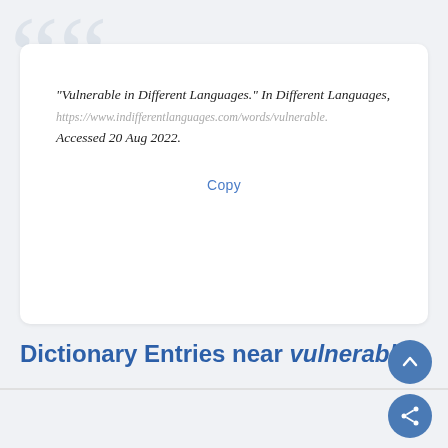"Vulnerable in Different Languages." In Different Languages, https://www.indifferentlanguages.com/words/vulnerable. Accessed 20 Aug 2022.
Copy
Dictionary Entries near vulnerable